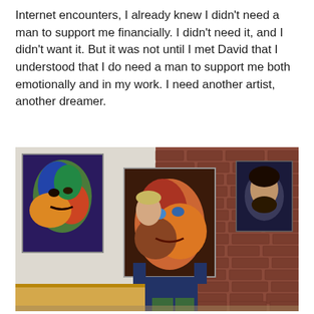Internet encounters, I already knew I didn't need a man to support me financially. I didn't need it, and I didn't want it. But it was not until I met David that I understood that I do need a man to support me both emotionally and in my work. I need another artist, another dreamer.
[Figure (photo): A person standing in an art gallery or studio with a brick wall background, holding up a large colorful painted portrait in front of their face. On the left wall hangs a large colorful painted portrait of a man's face with bright greens, blues, and reds. On the right side of the brick wall hangs a portrait of a man with dark hair and beard. The person holding the painting is partially visible behind it.]